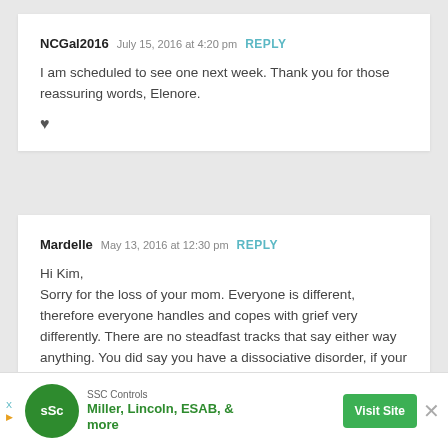NCGal2016  July 15, 2016 at 4:20 pm  REPLY

I am scheduled to see one next week. Thank you for those reassuring words, Elenore.

♥
Mardelle  May 13, 2016 at 12:30 pm  REPLY

Hi Kim,
Sorry for the loss of your mom. Everyone is different, therefore everyone handles and copes with grief very differently. There are no steadfast tracks that say either way anything. You did say you have a dissociative disorder, if your taking any kind of medication for this
[Figure (other): Advertisement banner: SSC Controls - Miller, Lincoln, ESAB, & more. Green circular logo with 'sSc' text, Visit Site button, close X button.]